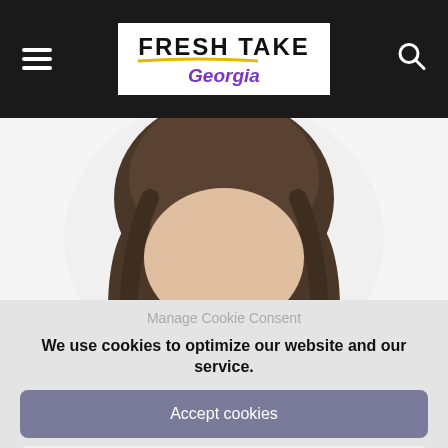Fresh Take Georgia
[Figure (photo): Upper half of a young woman's face with brown hair and blue-green eyes, white background]
Manage Cookie Consent
We use cookies to optimize our website and our service.
Accept cookies
Deny
Cookie Policy · Privacy Policy